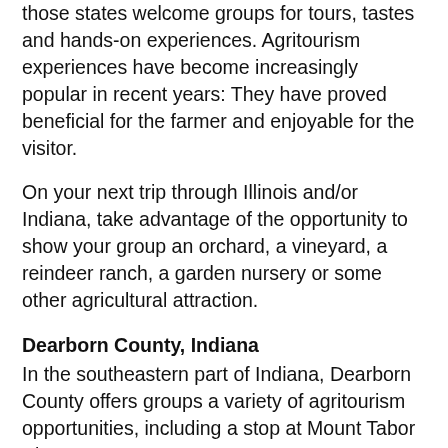those states welcome groups for tours, tastes and hands-on experiences. Agritourism experiences have become increasingly popular in recent years: They have proved beneficial for the farmer and enjoyable for the visitor.
On your next trip through Illinois and/or Indiana, take advantage of the opportunity to show your group an orchard, a vineyard, a reindeer ranch, a garden nursery or some other agricultural attraction.
Dearborn County, Indiana
In the southeastern part of Indiana, Dearborn County offers groups a variety of agritourism opportunities, including a stop at Mount Tabor Alpaca Farm.
“When you get to the farm, they have an alpaca tethered with the owner, so you can meet an alpaca right as you get off the coach,” said Sally McWilliams, group sales